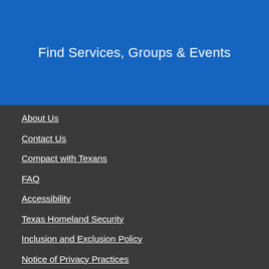Find Services, Groups & Events
About Us
Contact Us
Compact with Texans
FAQ
Accessibility
Texas Homeland Security
Inclusion and Exclusion Policy
Notice of Privacy Practices
Road Map
Site Map